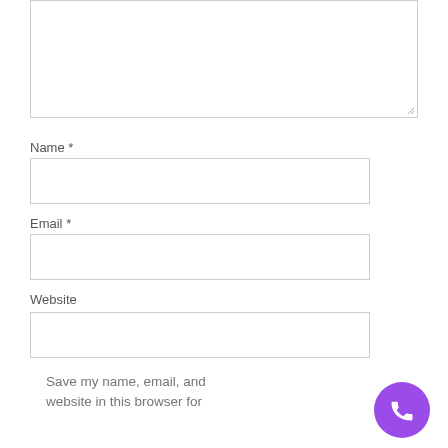Name *
Email *
Website
Save my name, email, and website in this browser for